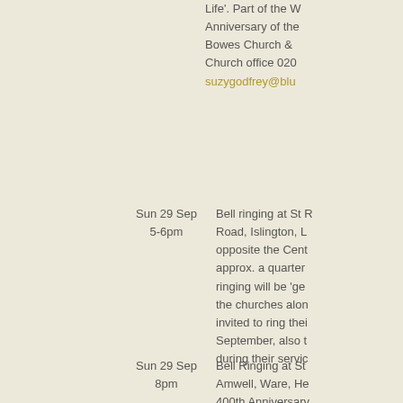Life'. Part of the W Anniversary of the Bowes Church & Church office 020 suzygodfrey@blu
Sun 29 Sep 5-6pm
Bell ringing at St R Road, Islington, L opposite the Cent approx. a quarter ringing will be 'ge the churches alon invited to ring thei September, also t during their servic
Sun 29 Sep 8pm
Bell Ringing at St Amwell, Ware, He 400th Anniversary Sunday evening s Surprise Minor, a River Action Grou New River have b anniversary Sund River in some wa Baptist bells are a